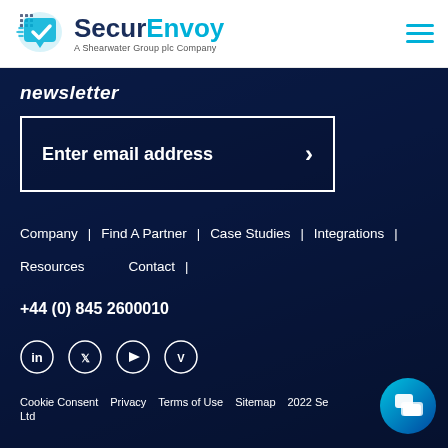SecurEnvoy — A Shearwater Group plc Company
newsletter
Enter email address
Company | Find A Partner | Case Studies | Integrations |
Resources   Contact |
+44 (0) 845 2600010
[Figure (infographic): Social media icons: LinkedIn, Twitter, YouTube, Vimeo]
Cookie Consent   Privacy   Terms of Use   Sitemap   2022 Se... Ltd